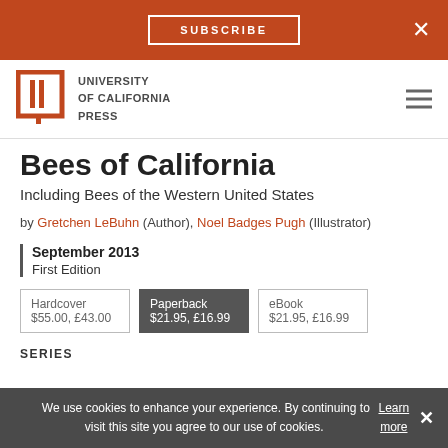SUBSCRIBE  ×
[Figure (logo): University of California Press logo with open book icon and text]
Bees of California
Including Bees of the Western United States
by Gretchen LeBuhn (Author), Noel Badges Pugh (Illustrator)
September 2013
First Edition
Hardcover $55.00, £43.00  |  Paperback $21.95, £16.99  |  eBook $21.95, £16.99
SERIES
We use cookies to enhance your experience. By continuing to visit this site you agree to our use of cookies. Learn more